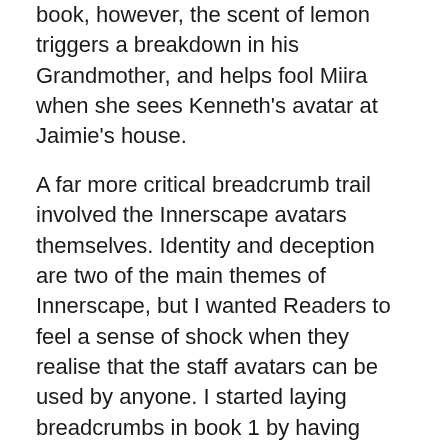book, however, the scent of lemon triggers a breakdown in his Grandmother, and helps fool Miira when she sees Kenneth’s avatar at Jaimie’s house.
A far more critical breadcrumb trail involved the Innerscape avatars themselves. Identity and deception are two of the main themes of Innerscape, but I wanted Readers to feel a sense of shock when they realise that the staff avatars can be used by anyone. I started laying breadcrumbs in book 1 by having David the sound technician join Miira’s orientation wearing Stanley’s avatar. The importance of those avatars continues until it reaches its climax in book 3.
I won’t tell you what that climax is, but I hope it gave Readers an ‘of course!’ moment. 😀
Do you consciously, or unconsciously, create ‘of course!’